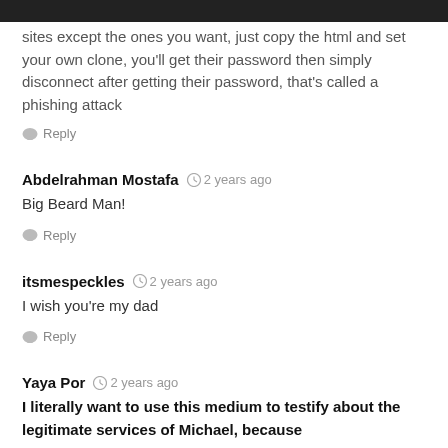simply do the twin attack and let them connect to all the other sites except the ones you want, just copy the html and set your own clone, you'll get their password then simply disconnect after getting their password, that's called a phishing attack
Reply
Abdelrahman Mostafa  2 years ago
Big Beard Man!
Reply
itsmespeckles  2 years ago
I wish you're my dad
Reply
Yaya Por  2 years ago
I literally want to use this medium to testify about the legitimate services of Michael, because